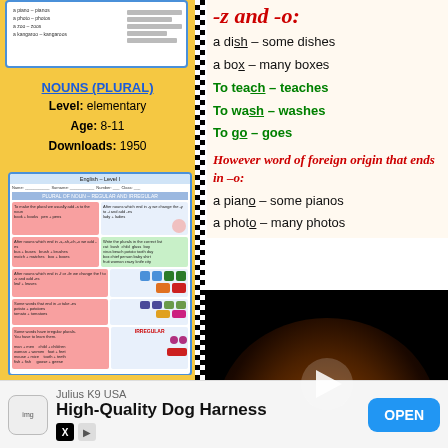[Figure (screenshot): Left column showing educational worksheet thumbnails on yellow background]
NOUNS (PLURAL)
Level: elementary
Age: 8-11
Downloads: 1950
[Figure (screenshot): Worksheet preview for plural of nouns exercise]
PLURAL OF NOUNS
Level: elementary
-z and -o:
a dish – some dishes
a box – many boxes
To teach – teaches
To wash – washes
To go – goes
However word of foreign origin that ends in –o:
a piano – some pianos
a photo – many photos
[Figure (screenshot): Video player showing planet/space scene with play button]
-y + ies:
one city – many cities
To study – studies
Julius K9 USA
High-Quality Dog Harness
OPEN